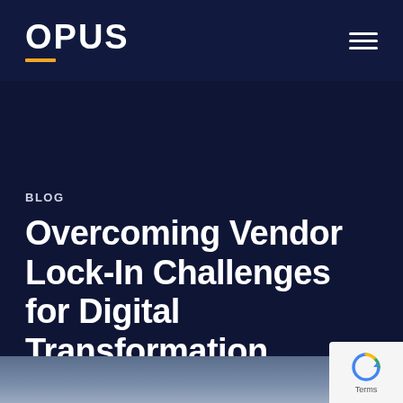OPUS
BLOG
Overcoming Vendor Lock-In Challenges for Digital Transformation
October 4, 2021
[Figure (photo): Bottom partial image, appears to be a blurred/dark background photo]